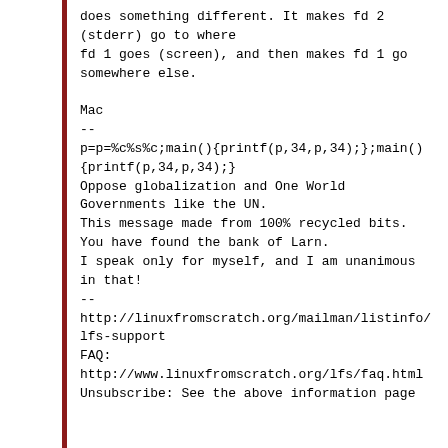does something different. It makes fd 2
(stderr) go to where
fd 1 goes (screen), and then makes fd 1 go
somewhere else.

Mac
--
p=p=%c%s%c;main(){printf(p,34,p,34);};main()
{printf(p,34,p,34);}
Oppose globalization and One World
Governments like the UN.
This message made from 100% recycled bits.
You have found the bank of Larn.
I speak only for myself, and I am unanimous
in that!
--
http://linuxfromscratch.org/mailman/listinfo/
lfs-support
FAQ:
http://www.linuxfromscratch.org/lfs/faq.html
Unsubscribe: See the above information page